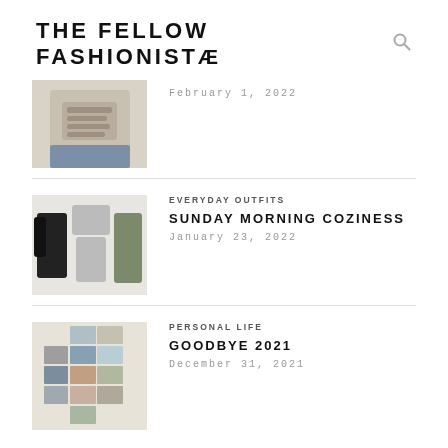THE FELLOW FASHIONISTE
[Figure (photo): Partial view of a person wearing a graphic t-shirt, holding food]
February 1, 2022
EVERYDAY OUTFITS
SUNDAY MORNING COZINESS
January 23, 2022
[Figure (photo): Flat lay of cozy loungewear: black top, grey matching set, and olive towel/robe]
PERSONAL LIFE
GOODBYE 2021
December 31, 2021
[Figure (photo): Collage of personal photos arranged in a grid on a beige background]